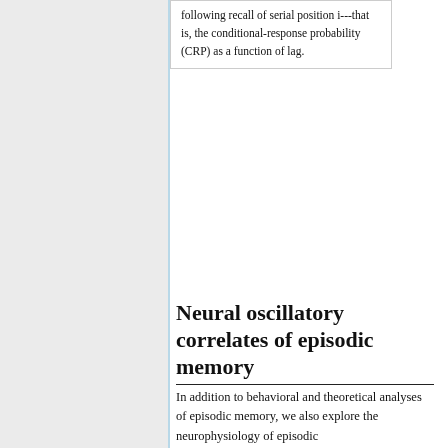following recall of serial position i---that is, the conditional-response probability (CRP) as a function of lag.
Neural oscillatory correlates of episodic memory
In addition to behavioral and theoretical analyses of episodic memory, we also explore the neurophysiology of episodic